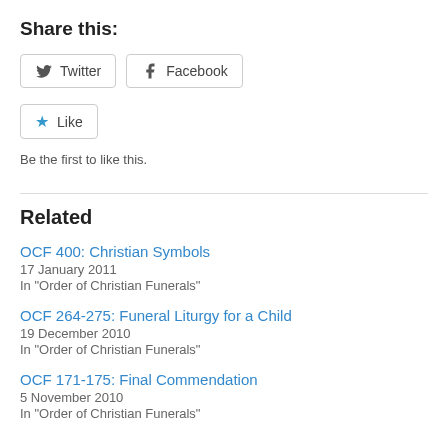Share this:
[Figure (other): Twitter and Facebook share buttons]
[Figure (other): Like button with blue star icon]
Be the first to like this.
Related
OCF 400: Christian Symbols
17 January 2011
In "Order of Christian Funerals"
OCF 264-275: Funeral Liturgy for a Child
19 December 2010
In "Order of Christian Funerals"
OCF 171-175: Final Commendation
5 November 2010
In "Order of Christian Funerals"